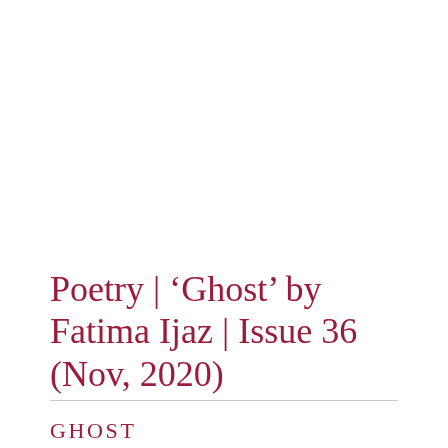Poetry | ‘Ghost’ by Fatima Ijaz | Issue 36 (Nov, 2020)
GHOST